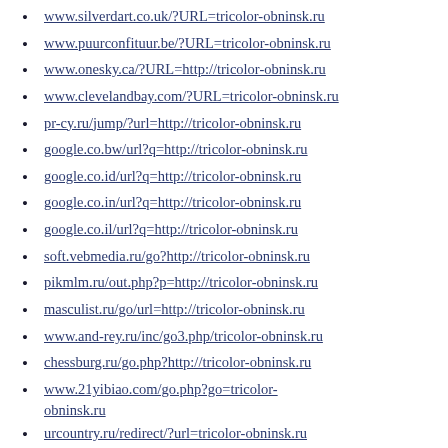www.silverdart.co.uk/?URL=tricolor-obninsk.ru
www.puurconfituur.be/?URL=tricolor-obninsk.ru
www.onesky.ca/?URL=http://tricolor-obninsk.ru
www.clevelandbay.com/?URL=tricolor-obninsk.ru
pr-cy.ru/jump/?url=http://tricolor-obninsk.ru
google.co.bw/url?q=http://tricolor-obninsk.ru
google.co.id/url?q=http://tricolor-obninsk.ru
google.co.in/url?q=http://tricolor-obninsk.ru
google.co.il/url?q=http://tricolor-obninsk.ru
soft.vebmedia.ru/go?http://tricolor-obninsk.ru
pikmlm.ru/out.php?p=http://tricolor-obninsk.ru
masculist.ru/go/url=http://tricolor-obninsk.ru
www.and-rey.ru/inc/go3.php/tricolor-obninsk.ru
chessburg.ru/go.php?http://tricolor-obninsk.ru
www.21yibiao.com/go.php?go=tricolor-obninsk.ru
urcountry.ru/redirect/?url=tricolor-obninsk.ru
linkstars.ru/click/?http://tricolor-obninsk.ru
owl.ru/links.php?go=http://tricolor-obninsk.ru